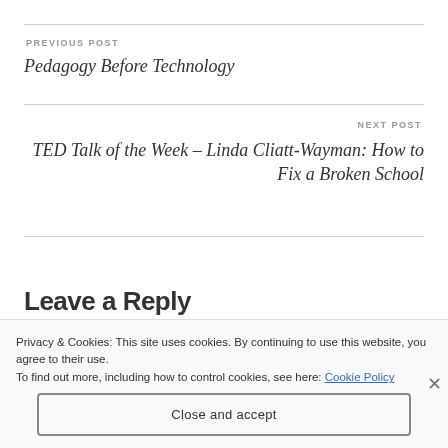PREVIOUS POST
Pedagogy Before Technology
NEXT POST
TED Talk of the Week – Linda Cliatt-Wayman: How to Fix a Broken School
Leave a Reply
Privacy & Cookies: This site uses cookies. By continuing to use this website, you agree to their use.
To find out more, including how to control cookies, see here: Cookie Policy
Close and accept